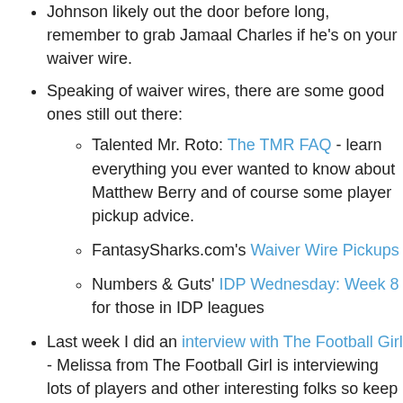Johnson likely out the door before long, remember to grab Jamaal Charles if he's on your waiver wire.
Speaking of waiver wires, there are some good ones still out there:
Talented Mr. Roto: The TMR FAQ - learn everything you ever wanted to know about Matthew Berry and of course some player pickup advice.
FantasySharks.com's Waiver Wire Pickups
Numbers & Guts' IDP Wednesday: Week 8 for those in IDP leagues
Last week I did an interview with The Football Girl - Melissa from The Football Girl is interviewing lots of players and other interesting folks so keep your eyes open for podcasts from her in the future, too.
On the podcast front, I'll be talking with the GoGameFace ladies today - should be fun